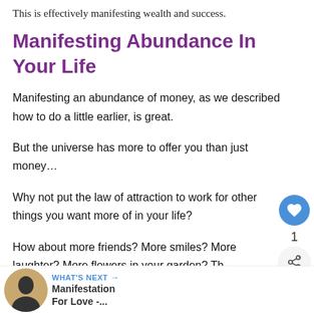This is effectively manifesting wealth and success.
Manifesting Abundance In Your Life
Manifesting an abundance of money, as we described how to do a little earlier, is great.
But the universe has more to offer you than just money…
Why not put the law of attraction to work for other things you want more of in your life?
How about more friends? More smiles? More laughter? More flowers in your garden? Th… on.
[Figure (infographic): Floating social UI: heart (like) button in blue circle with count '1' below, and a share button in a light grey circle]
[Figure (infographic): WHAT'S NEXT banner at bottom showing a thumbnail of a person silhouette and text 'Manifestation For Love -...' with blue arrow label]